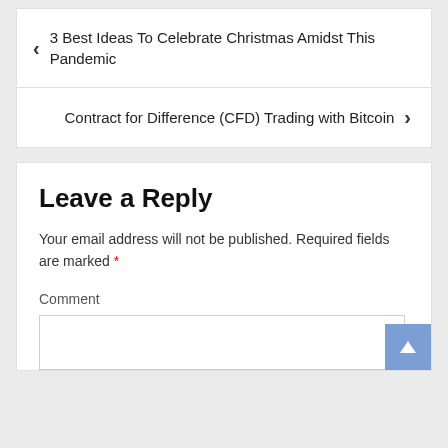‹ 3 Best Ideas To Celebrate Christmas Amidst This Pandemic
Contract for Difference (CFD) Trading with Bitcoin ›
Leave a Reply
Your email address will not be published. Required fields are marked *
Comment